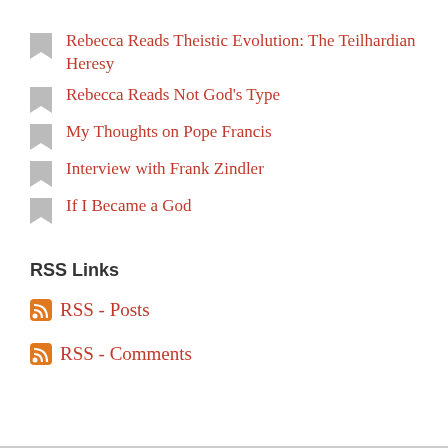Rebecca Reads Theistic Evolution: The Teilhardian Heresy
Rebecca Reads Not God's Type
My Thoughts on Pope Francis
Interview with Frank Zindler
If I Became a God
RSS Links
RSS - Posts
RSS - Comments